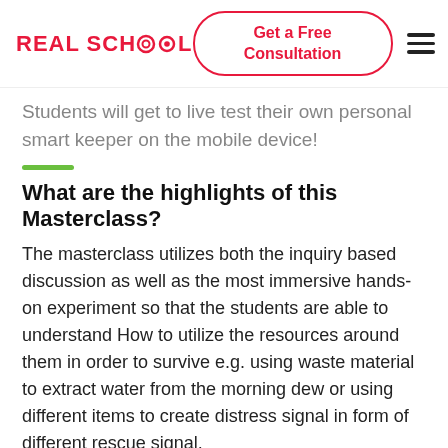REAL SCHOOL | Get a Free Consultation
Students will get to live test their own personal smart keeper on the mobile device!
What are the highlights of this Masterclass?
The masterclass utilizes both the inquiry based discussion as well as the most immersive hands-on experiment so that the students are able to understand How to utilize the resources around them in order to survive e.g. using waste material to extract water from the morning dew or using different items to create distress signal in form of different rescue signal.
What are the key takeaways?
App development is shrouded with false cloud of difficulty!